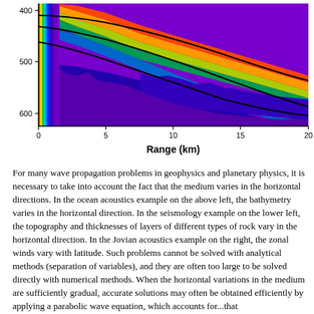[Figure (continuous-plot): Ocean acoustics seismic cross-section plot showing depth (400-600 m) vs Range (0-20 km). Color gradient from red/yellow/green on the left transitioning to blue and purple on the right, with black contour lines curving from upper left to upper right. X-axis labeled 'Range (km)' with ticks at 0,5,10,15,20. Y-axis shows depth values 400, 500, 600.]
For many wave propagation problems in geophysics and planetary physics, it is necessary to take into account the fact that the medium varies in the horizontal directions. In the ocean acoustics example on the above left, the bathymetry varies in the horizontal direction. In the seismology example on the lower left, the topography and thicknesses of layers of different types of rock vary in the horizontal direction. In the Jovian acoustics example on the right, the zonal winds vary with latitude. Such problems cannot be solved with analytical methods (separation of variables), and they are often too large to be solved directly with numerical methods. When the horizontal variations in the medium are sufficiently gradual, accurate solutions may often be obtained efficiently by applying a parabolic wave equation, which accounts for...